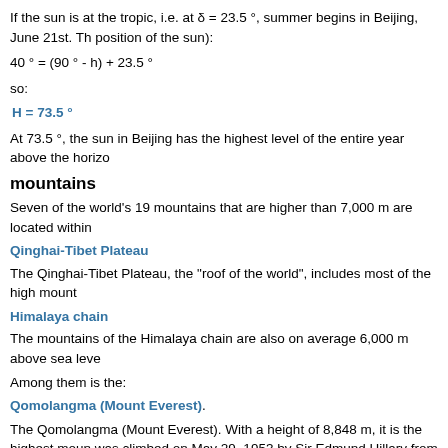If the sun is at the tropic, i.e. at δ = 23.5 °, summer begins in Beijing, June 21st. Th position of the sun):
so:
At 73.5 °, the sun in Beijing has the highest level of the entire year above the horizo
mountains
Seven of the world's 19 mountains that are higher than 7,000 m are located within
Qinghai-Tibet Plateau
The Qinghai-Tibet Plateau, the "roof of the world", includes most of the high mount
Himalaya chain
The mountains of the Himalaya chain are also on average 6,000 m above sea leve
Among them is the:
Qomolangma (Mount Everest).
The Qomolangma (Mount Everest). With a height of 8,848 m, it is the highest moun was climbed on May 29, 1953 by Sir Edmund Hillary from New Zealand and the Ne of the mountain at 8,844.3 m. Only in April 2010 did China accept the "Nepalese" a
Kulun Mountains